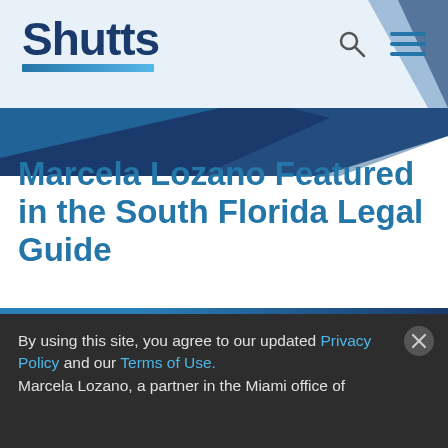Shutts
[Figure (logo): Shutts law firm logo with blue underline accent, search icon and hamburger menu icon in header]
Marcela Lozano Featured in the South Florida Legal Guide
7.12.18  |  MEDIA MENTION
[Figure (other): PDF download icon and share icon]
By using this site, you agree to our updated Privacy Policy and our Terms of Use. Marcela Lozano, a partner in the Miami office of